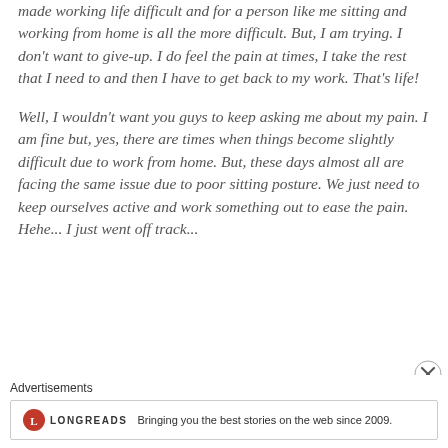made working life difficult and for a person like me sitting and working from home is all the more difficult. But, I am trying. I don't want to give-up. I do feel the pain at times, I take the rest that I need to and then I have to get back to my work. That's life!
Well, I wouldn't want you guys to keep asking me about my pain. I am fine but, yes, there are times when things become slightly difficult due to work from home. But, these days almost all are facing the same issue due to poor sitting posture. We just need to keep ourselves active and work something out to ease the pain. Hehe... I just went off track...
Advertisements
[Figure (other): Longreads advertisement banner with circular red logo and text: Bringing you the best stories on the web since 2009.]